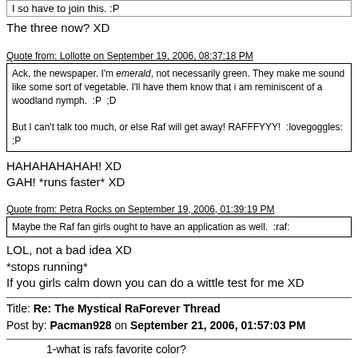I so have to join this. :P
The three now? XD
Quote from: Lollotte on September 19, 2006, 08:37:18 PM
Ack, the newspaper. I'm emerald, not necessarily green. They make me sound like some sort of vegetable. I'll have them know that i am reminiscent of a woodland nymph.  :P  ;D

But I can't talk too much, or else Raf will get away! RAFFFYYY!  :lovegoggles:
;P
HAHAHAHAHAH! XD
GAH! *runs faster* XD
Quote from: Petra Rocks on September 19, 2006, 01:39:19 PM
Maybe the Raf fan girls ought to have an application as well.  :raf:
LOL, not a bad idea XD
*stops running*
If you girls calm down you can do a wittle test for me XD
Title: Re: The Mystical RaForever Thread
Post by: Pacman928 on September 21, 2006, 01:57:03 PM
1-what is rafs favorite color?
2-how old is rafs sister?